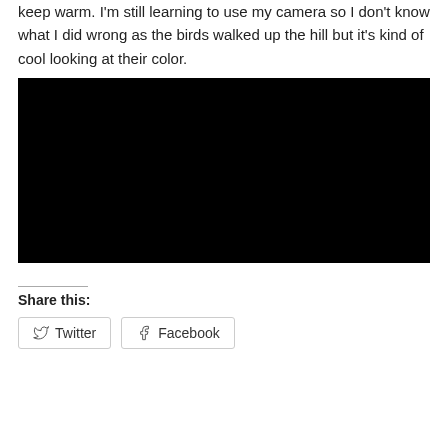keep warm. I'm still learning to use my camera so I don't know what I did wrong as the birds walked up the hill but it's kind of cool looking at their color.
[Figure (photo): A very dark/black photograph, nearly entirely black, likely an underexposed image of birds walking up a hill.]
Share this:
Twitter
Facebook